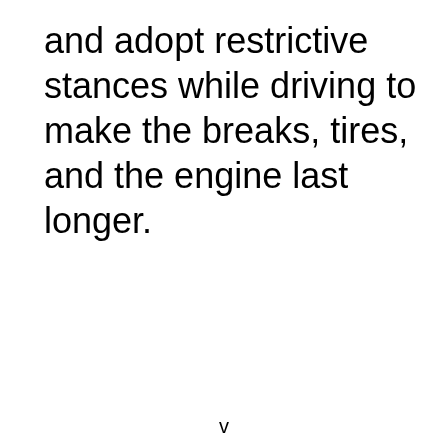and adopt restrictive stances while driving to make the breaks, tires, and the engine last longer.
v